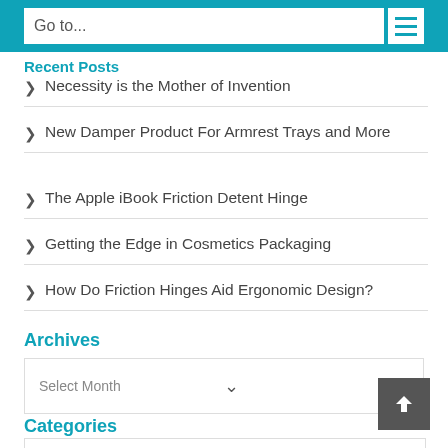Go to...
Recent Posts
Necessity is the Mother of Invention
New Damper Product For Armrest Trays and More
The Apple iBook Friction Detent Hinge
Getting the Edge in Cosmetics Packaging
How Do Friction Hinges Aid Ergonomic Design?
Archives
Select Month
Categories